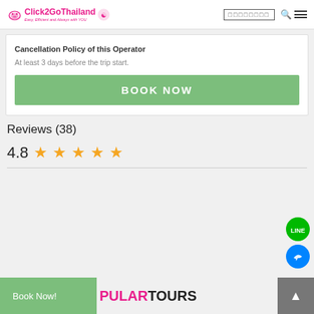Click2GoThailand - Easy, Efficient and Always with YOU
Cancellation Policy of this Operator
At least 3 days before the trip start.
BOOK NOW
Reviews (38)
4.8 ★★★★★
Book Now!
POPULAR TOURS